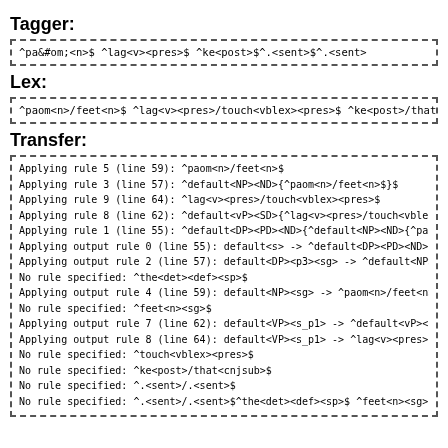Tagger:
^paom<n>$ ^lag<v><pres>$ ^ke<post>$^.<sent>$^.<sent>
Lex:
^paom<n>/feet<n>$ ^lag<v><pres>/touch<vblex><pres>$ ^ke<post>/that<cn
Transfer:
Applying rule 5 (line 59): ^paom<n>/feet<n>$
Applying rule 3 (line 57): ^default<NP><ND>{^paom<n>/feet<n>$}$
Applying rule 9 (line 64): ^lag<v><pres>/touch<vblex><pres>$
Applying rule 8 (line 62): ^default<vP><SD>{^lag<v><pres>/touch<vblex>
Applying rule 1 (line 55): ^default<DP><PD><ND>{^default<NP><ND>{^paom
Applying output rule 0 (line 55): default<s> -> ^default<DP><PD><ND>{^
Applying output rule 2 (line 57): default<DP><p3><sg> -> ^default<NP><
No rule specified: ^the<det><def><sp>$
Applying output rule 4 (line 59): default<NP><sg> -> ^paom<n>/feet<n>
No rule specified: ^feet<n><sg>$
Applying output rule 7 (line 62): default<VP><s_p1> -> ^default<vP><SD
Applying output rule 8 (line 64): default<VP><s_p1> -> ^lag<v><pres>/t
No rule specified: ^touch<vblex><pres>$
No rule specified: ^ke<post>/that<cnjsub>$
No rule specified: ^.<sent>/.<sent>$
No rule specified: ^.<sent>/.<sent>$^the<det><def><sp>$ ^feet<n><sg>$